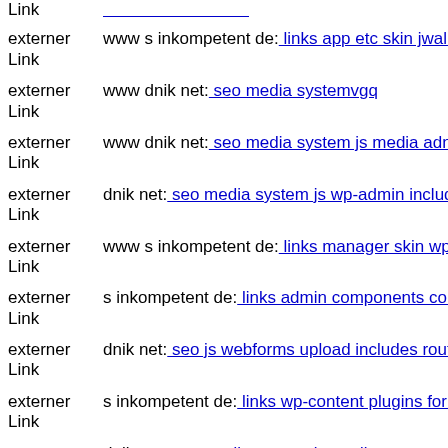externer Link  www s inkompetent de: links app etc skin jwallpapers files
externer Link  www dnik net: seo media systemvgq
externer Link  www dnik net: seo media system js media administrator tm
externer Link  dnik net: seo media system js wp-admin includes plugins co
externer Link  www s inkompetent de: links manager skin wp-content plug
externer Link  s inkompetent de: links admin components com alphauserp
externer Link  dnik net: seo js webforms upload includes routing php
externer Link  s inkompetent de: links wp-content plugins formcraft file-u
externer Link  dnik net: seo media system js media components componer
externer Link  dnik net: seo media system js cfg-contactform-16 inc wp-in
externer Link  dnik net: seo media system js media downloader wp-contem